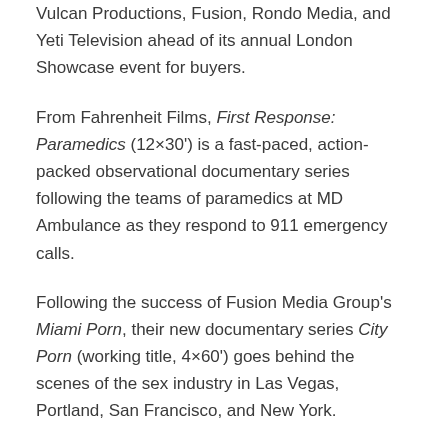Vulcan Productions, Fusion, Rondo Media, and Yeti Television ahead of its annual London Showcase event for buyers.
From Fahrenheit Films, First Response: Paramedics (12×30') is a fast-paced, action-packed observational documentary series following the teams of paramedics at MD Ambulance as they respond to 911 emergency calls.
Following the success of Fusion Media Group's Miami Porn, their new documentary series City Porn (working title, 4×60') goes behind the scenes of the sex industry in Las Vegas, Portland, San Francisco, and New York.
Produced by Vulcan Productions, The Cold Blue (1×60'/1×72') …